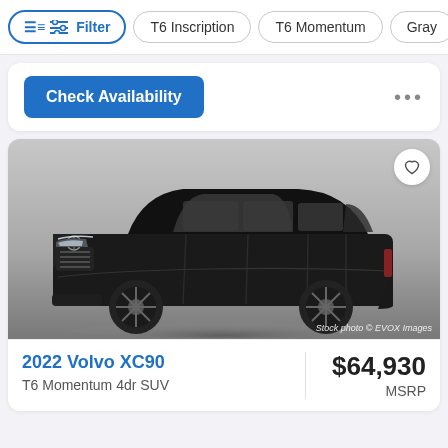Filter | T6 Inscription | T6 Momentum | Gray
Check Availability
[Figure (photo): Black 2022 Volvo XC90 SUV shown in a 3/4 front view against a gray gradient background. Stock photo © EVOX Images watermark visible at bottom right.]
2022 Volvo XC90
T6 Momentum 4dr SUV
$64,930
MSRP